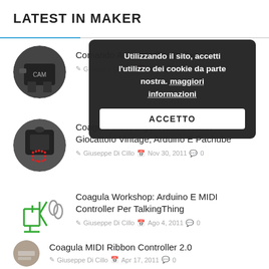LATEST IN MAKER
[Figure (screenshot): Cookie consent overlay dialog with Italian text: 'Utilizzando il sito, accetti l'utilizzo dei cookie da parte nostra. maggiori informazioni' and an ACCETTO button]
Comando A Pedale Per Reflex
Giuseppe Di Cillo  2013  0
Coagula Messenger Robot: Robot Giocattolo Vintage, Arduino E Pachube
Giuseppe Di Cillo  Nov 30, 2011  0
Coagula Workshop: Arduino E MIDI Controller Per TalkingThing
Giuseppe Di Cillo  Ago 4, 2011  0
Coagula MIDI Ribbon Controller 2.0
Giuseppe Di Cillo  Apr 17, 2011  0